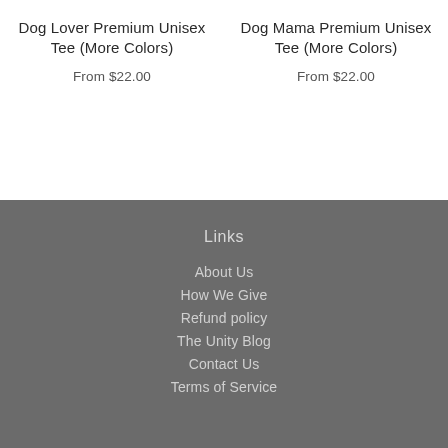Dog Lover Premium Unisex Tee (More Colors)
From $22.00
Dog Mama Premium Unisex Tee (More Colors)
From $22.00
Links
About Us
How We Give
Refund policy
The Unity Blog
Contact Us
Terms of Service